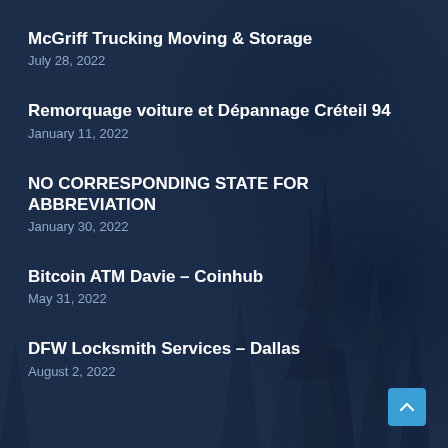McGriff Trucking Moving & Storage
July 28, 2022
Remorquage voiture et Dépannage Créteil 94
January 11, 2022
NO CORRESPONDING STATE FOR ABBREVIATION
January 30, 2022
Bitcoin ATM Davie – Coinhub
May 31, 2022
DFW Locksmith Services – Dallas
August 2, 2022